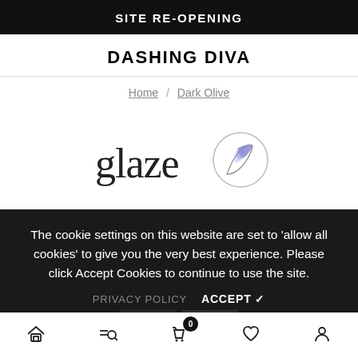SITE RE-OPENING
DASHING DIVA
Home / Dark Olive
[Figure (logo): Glaze by Dashing Diva logo — word 'glaze' in serif script with a stylized circular nail/brush icon to the right]
The cookie settings on this website are set to 'allow all cookies' to give you the very best experience. Please click Accept Cookies to continue to use the site.
PRIVACY POLICY   ACCEPT ✓